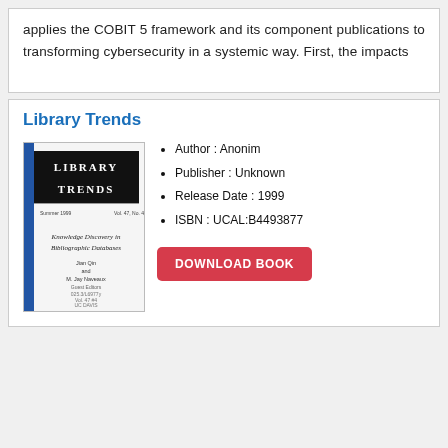applies the COBIT 5 framework and its component publications to transforming cybersecurity in a systemic way. First, the impacts
Library Trends
[Figure (illustration): Book cover of Library Trends journal showing 'Knowledge Discovery in Bibliographic Databases' issue]
Author : Anonim
Publisher : Unknown
Release Date : 1999
ISBN : UCAL:B4493877
DOWNLOAD BOOK